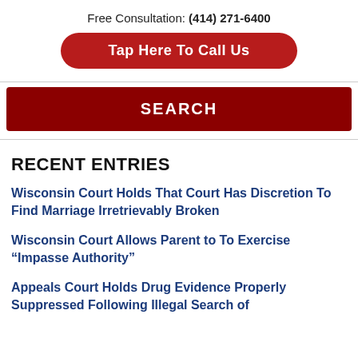Free Consultation: (414) 271-6400
Tap Here To Call Us
SEARCH
RECENT ENTRIES
Wisconsin Court Holds That Court Has Discretion To Find Marriage Irretrievably Broken
Wisconsin Court Allows Parent to To Exercise “Impasse Authority”
Appeals Court Holds Drug Evidence Properly Suppressed Following Illegal Search of